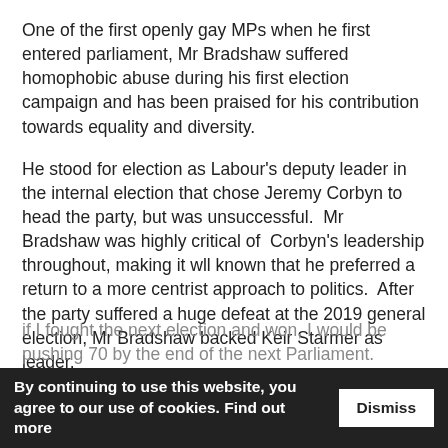One of the first openly gay MPs when he first entered parliament, Mr Bradshaw suffered homophobic abuse during his first election campaign and has been praised for his contribution towards equality and diversity.
He stood for election as Labour's deputy leader in the internal election that chose Jeremy Corbyn to head the party, but was unsuccessful.  Mr Bradshaw was highly critical of  Corbyn's leadership throughout, making it wll known that he preferred a return to a more centrist approach to politics.  After the party suffered a huge defeat at the 2019 general election, Mr Bradshaw backed Keir Starmer as leader.
Announcing his decision to step down, he said: “There is never a perfect time to step down in politics and the exact timing is dictated by the electoral cycle. I will be 62 this year.
if I fought the next election and won, I would be pushing 70 by the end of the next Parliament.
By continuing to use this website, you agree to our use of cookies. Find out more
Dismiss